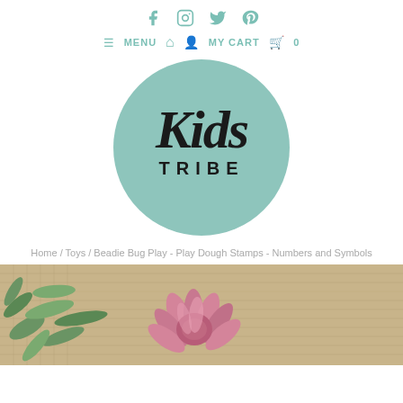Social icons: Facebook, Instagram, Twitter, Pinterest
≡ MENU  🏠  👤  MY CART  🛒  0
[Figure (logo): Kids Tribe logo — mint green circle with handwritten 'Kids' script and 'TRIBE' in bold caps below]
Home / Toys / Beadie Bug Play - Play Dough Stamps - Numbers and Symbols
[Figure (photo): Product image showing pink protea flowers and green leaves on a burlap/hessian fabric background]